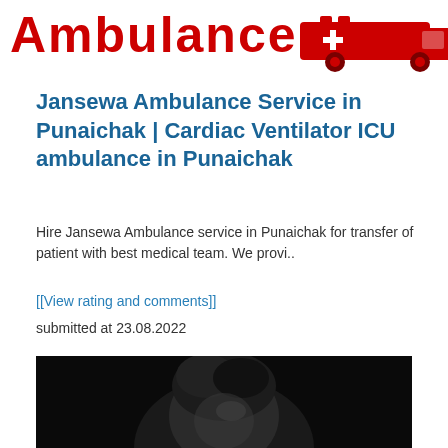[Figure (logo): Jansewa Ambulance logo with red text 'Ambulance' and a red ambulance vehicle illustration on a white background]
Jansewa Ambulance Service in Punaichak | Cardiac Ventilator ICU ambulance in Punaichak
Hire Jansewa Ambulance service in Punaichak for transfer of patient with best medical team. We provi..
[[View rating and comments]]
submitted at 23.08.2022
[Figure (photo): A person with dark curly hair photographed from behind/above against a dark background]